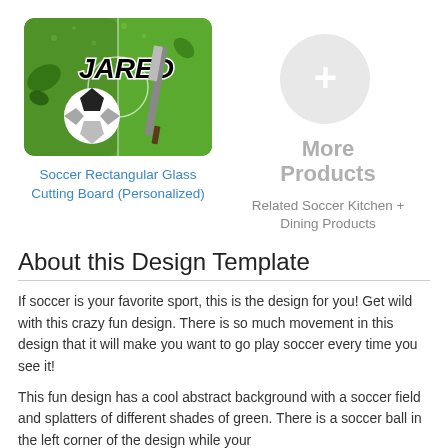[Figure (photo): Soccer themed personalized rectangular glass cutting board with the name JARED, a soccer ball, green splatters and a knife]
[Figure (other): Gray circle with a white plus sign indicating more products]
Soccer Rectangular Glass Cutting Board (Personalized)
Related Soccer Kitchen + Dining Products
About this Design Template
If soccer is your favorite sport, this is the design for you! Get wild with this crazy fun design. There is so much movement in this design that it will make you want to go play soccer every time you see it!
This fun design has a cool abstract background with a soccer field and splatters of different shades of green. There is a soccer ball in the left corner of the design while your